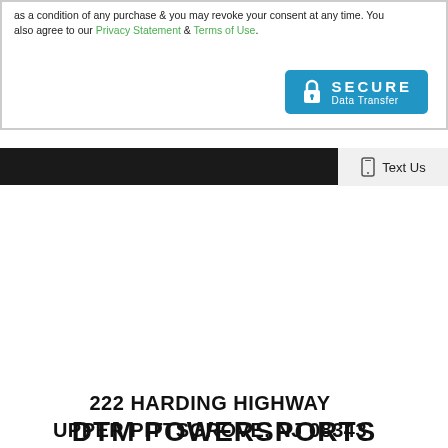as a condition of any purchase & you may revoke your consent at any time. You also agree to our Privacy Statement & Terms of Use.
[Figure (logo): Secure Data Transfer button - blue rounded rectangle with lock icon and text SECURE Data Transfer]
Text Us
222 HARDING HIGHWAY UPPER PITTSGROVE, NJ 08343
[Figure (logo): DTM Powersports logo - speedometer graphic with red and black design and DTM POWERSPORTS text]
DTM POWERSPORTS